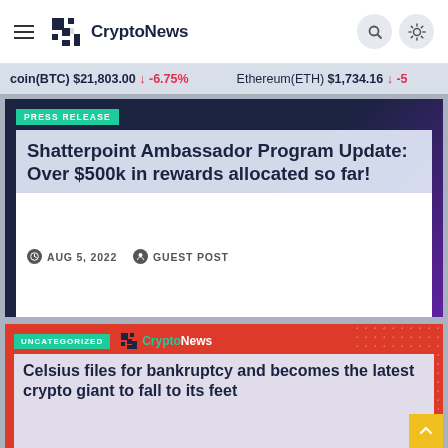CryptoNews
coin(BTC) $21,803.00 ↓ -6.75%   Ethereum(ETH) $1,734.16 ↓ -5
[Figure (screenshot): News card with dark/purple background. PRESS RELEASE tag in teal. Headline: Shatterpoint Ambassador Program Update: Over $500k in rewards allocated so far! Date: AUG 5, 2022. Author: GUEST POST.]
[Figure (screenshot): News card with red/orange background and dot pattern. UNCATEGORIZED tag in teal. CryptoNews logo. Headline: Celsius files for bankruptcy and becomes the latest crypto giant to fall to its feet]